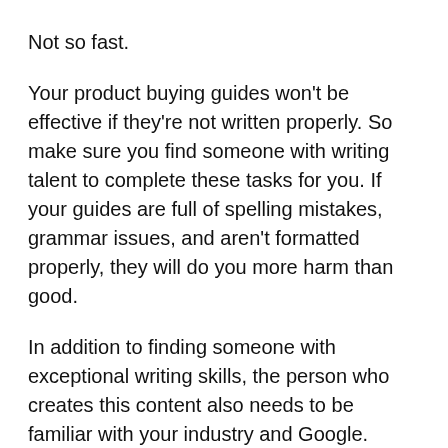Not so fast.
Your product buying guides won't be effective if they're not written properly. So make sure you find someone with writing talent to complete these tasks for you. If your guides are full of spelling mistakes, grammar issues, and aren't formatted properly, they will do you more harm than good.
In addition to finding someone with exceptional writing skills, the person who creates this content also needs to be familiar with your industry and Google.
They need to be educated on what they're writing about. Plus, the guides need to be written in a way that appeals to search engines.